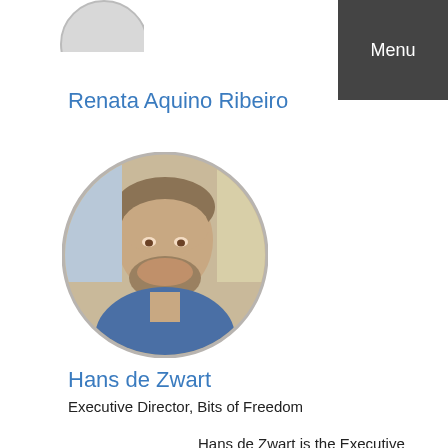Menu
Renata Aquino Ribeiro
[Figure (photo): Circular portrait photo of Hans de Zwart, a man with short brown hair and a beard, wearing a blue shirt]
Hans de Zwart
Executive Director, Bits of Freedom
Hans de Zwart is the Executive Director of the Dutch digital civil rights organisation Bits of Freedom, fighting for freedom of communication and privacy on the internet. In the past he was Shell's Senior Innovation Adviser for Global HR and Learning